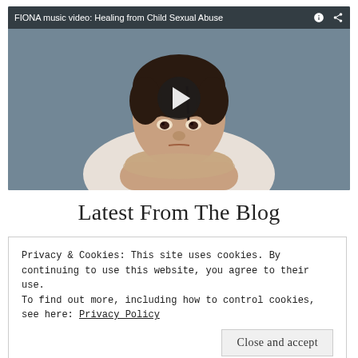[Figure (screenshot): YouTube-style video thumbnail showing a boy with dark hair leaning on his arms with a serious expression, blue-grey background. Video title bar reads: FIONA music video: Healing from Child Sexual Abuse]
Latest From The Blog
Privacy & Cookies: This site uses cookies. By continuing to use this website, you agree to their use.
To find out more, including how to control cookies, see here: Privacy Policy
Close and accept
[Figure (photo): Partially visible blog post image showing sunflowers and stylized text reading 'Light' with partial text 'Don't let them' below]